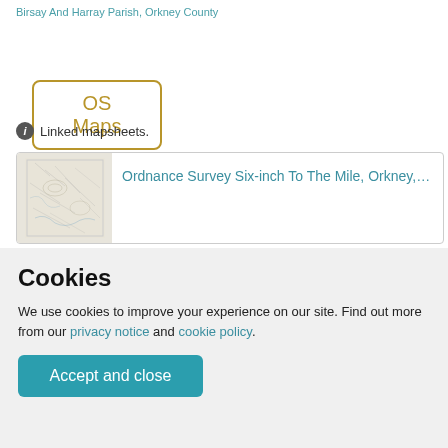Birsay And Harray Parish, Orkney County
OS Maps
Linked mapsheets.
[Figure (map): Thumbnail of Ordnance Survey Six-inch To The Mile map of Orkney]
Ordnance Survey Six-inch To The Mile, Orkney, Shee
Cookies
We use cookies to improve your experience on our site. Find out more from our privacy notice and cookie policy.
Accept and close